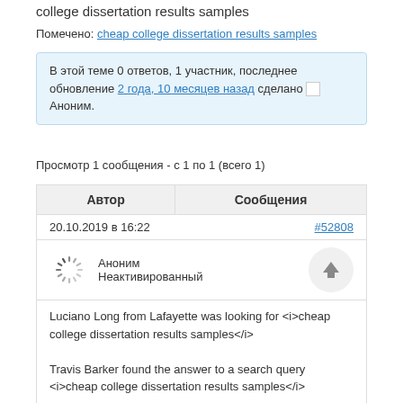college dissertation results samples
Помечено: cheap college dissertation results samples
В этой теме 0 ответов, 1 участник, последнее обновление 2 года, 10 месяцев назад сделано  Аноним.
Просмотр 1 сообщения - с 1 по 1 (всего 1)
| Автор | Сообщения |
| --- | --- |
| 20.10.2019 в 16:22 | #52808 |
| [spinner] Аноним Неактивированный | [up arrow] |
| Luciano Long from Lafayette was looking for <i>cheap college dissertation results samples</i>

Travis Barker found the answer to a search query <i>cheap college dissertation results samples</i> |  |